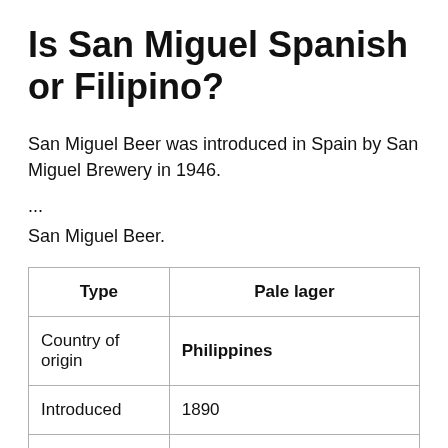Is San Miguel Spanish or Filipino?
San Miguel Beer was introduced in Spain by San Miguel Brewery in 1946.
...
San Miguel Beer.
| Type | Pale lager |
| --- | --- |
| Country of origin | Philippines |
| Introduced | 1890 |
| Alcohol by volume | 5% |